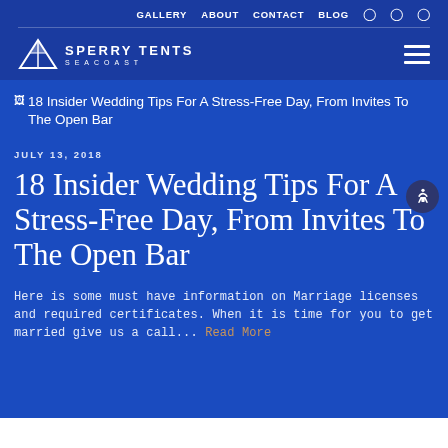GALLERY  ABOUT  CONTACT  BLOG
[Figure (logo): Sperry Tents Seacoast logo with tent icon and text]
[Figure (photo): 18 Insider Wedding Tips For A Stress-Free Day, From Invites To The Open Bar - broken image placeholder]
JULY 13, 2018
18 Insider Wedding Tips For A Stress-Free Day, From Invites To The Open Bar
Here is some must have information on Marriage licenses and required certificates. When it is time for you to get married give us a call... Read More